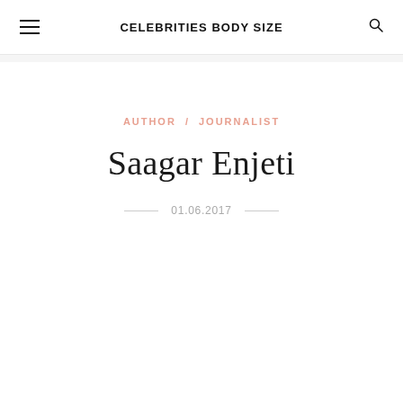CELEBRITIES BODY SIZE
AUTHOR / JOURNALIST
Saagar Enjeti
01.06.2017